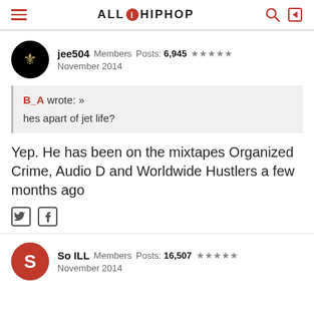ALLHIPHOP
jee504  Members  Posts: 6,945  ★★★★★
November 2014
B_A wrote: »
hes apart of jet life?
Yep. He has been on the mixtapes Organized Crime, Audio D and Worldwide Hustlers a few months ago
So ILL  Members  Posts: 16,507  ★★★★★
November 2014